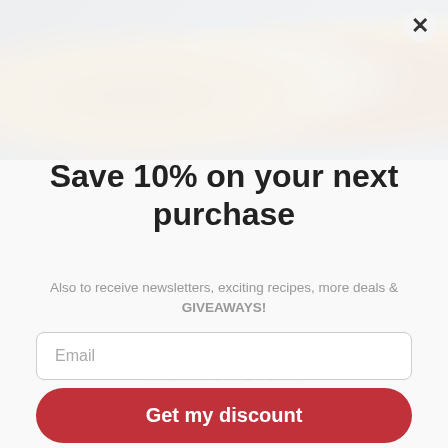[Figure (photo): Food photo at the top showing a plate of pasta/noodles with grilled chicken, a bowl of soup, and cooking utensils on a blue background]
Save 10% on your next purchase
Also to receive newsletters, exciting recipes, more deals & GIVEAWAYS!
Email
Get my discount